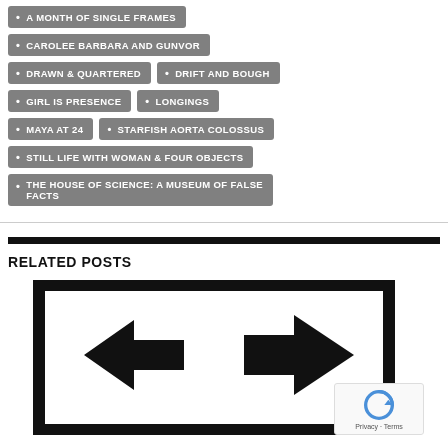A MONTH OF SINGLE FRAMES
CAROLEE BARBARA AND GUNVOR
DRAWN & QUARTERED
DRIFT AND BOUGH
GIRL IS PRESENCE
LONGINGS
MAYA AT 24
STARFISH AORTA COLOSSUS
STILL LIFE WITH WOMAN & FOUR OBJECTS
THE HOUSE OF SCIENCE: A MUSEUM OF FALSE FACTS
RELATED POSTS
[Figure (photo): Related post thumbnail image showing a black and white graphic/logo design with angular arrow-like shapes, partially visible]